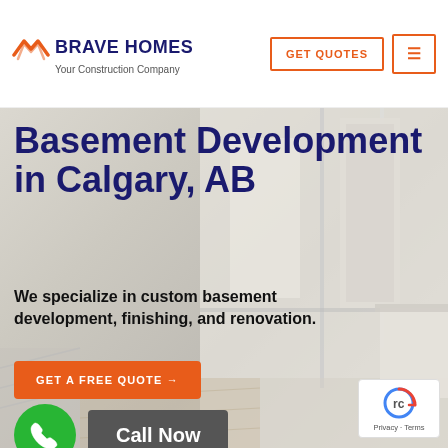[Figure (logo): Brave Homes logo with orange roof/chevron icon, bold dark blue text 'BRAVE HOMES', subtitle 'Your Construction Company']
GET QUOTES
Basement Development in Calgary, AB
We specialize in custom basement development, finishing, and renovation.
GET A FREE QUOTE →
Call Now